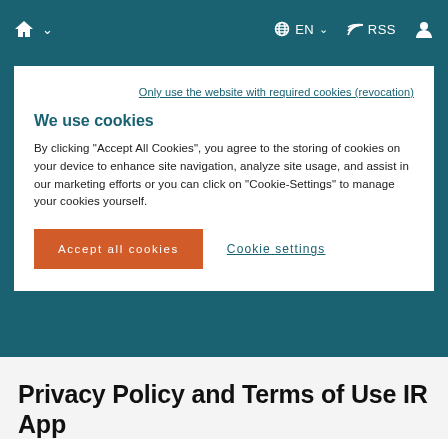🏠 ∨   🌐 EN ∨   ))) RSS   👤
Only use the website with required cookies (revocation)
We use cookies
By clicking "Accept All Cookies", you agree to the storing of cookies on your device to enhance site navigation, analyze site usage, and assist in our marketing efforts or you can click on "Cookie-Settings" to manage your cookies yourself.
Accept all cookies
Cookie settings
Privacy Policy and Terms of Use IR App